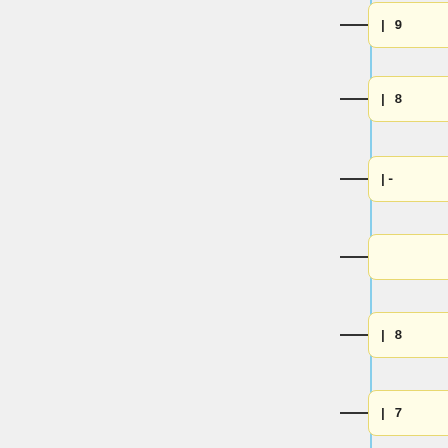| 9
| 8
|-
| 8
| 7
| 8
|}
! Space-Time Continuum
{|
class="wikitabl